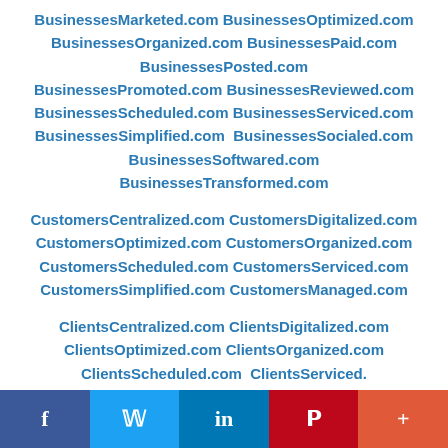BusinessesMarketed.com BusinessesOptimized.com BusinessesOrganized.com BusinessesPaid.com BusinessesPosted.com BusinessesPromoted.com BusinessesReviewed.com BusinessesScheduled.com BusinessesServiced.com BusinessesSimplified.com BusinessesSocialed.com BusinessesSoftwared.com BusinessesTransformed.com
CustomersCentralized.com CustomersDigitalized.com CustomersOptimized.com CustomersOrganized.com CustomersScheduled.com CustomersServiced.com CustomersSimplified.com CustomersManaged.com
ClientsCentralized.com ClientsDigitalized.com ClientsOptimized.com ClientsOrganized.com ClientsScheduled.com ClientsServiced.com